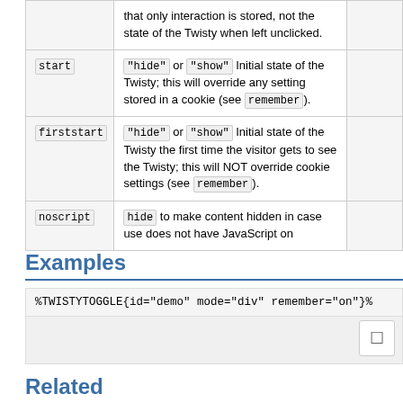| Parameter | Description |  |
| --- | --- | --- |
|  | that only interaction is stored, not the state of the Twisty when left unclicked. |  |
| start | "hide" or "show" Initial state of the Twisty; this will override any setting stored in a cookie (see remember ). |  |
| firststart | "hide" or "show" Initial state of the Twisty the first time the visitor gets to see the Twisty; this will NOT override cookie settings (see remember ). |  |
| noscript | hide to make content hidden in case use does not have JavaScript on |  |
Examples
%TWISTYTOGGLE{id="demo" mode="div" remember="on"}%
Related